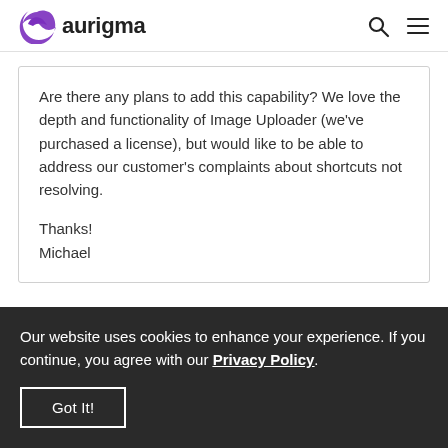aurigma
Are there any plans to add this capability? We love the depth and functionality of Image Uploader (we've purchased a license), but would like to be able to address our customer's complaints about shortcuts not resolving.

Thanks!
Michael
Our website uses cookies to enhance your experience. If you continue, you agree with our Privacy Policy. Got It!